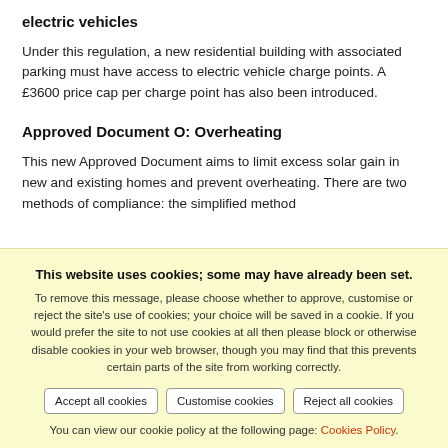electric vehicles
Under this regulation, a new residential building with associated parking must have access to electric vehicle charge points. A £3600 price cap per charge point has also been introduced.
Approved Document O: Overheating
This new Approved Document aims to limit excess solar gain in new and existing homes and prevent overheating. There are two methods of compliance: the simplified method
This website uses cookies; some may have already been set.
To remove this message, please choose whether to approve, customise or reject the site's use of cookies; your choice will be saved in a cookie. If you would prefer the site to not use cookies at all then please block or otherwise disable cookies in your web browser, though you may find that this prevents certain parts of the site from working correctly.
Accept all cookies | Customise cookies | Reject all cookies
You can view our cookie policy at the following page: Cookies Policy.